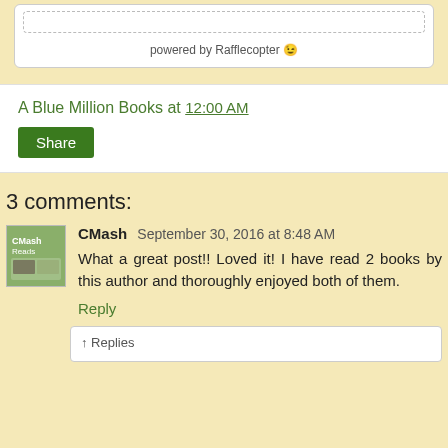[Figure (screenshot): Rafflecopter widget box with dashed inner border and 'powered by Rafflecopter' text at bottom]
A Blue Million Books at 12:00 AM
Share
3 comments:
CMash  September 30, 2016 at 8:48 AM
What a great post!! Loved it! I have read 2 books by this author and thoroughly enjoyed both of them.
Reply